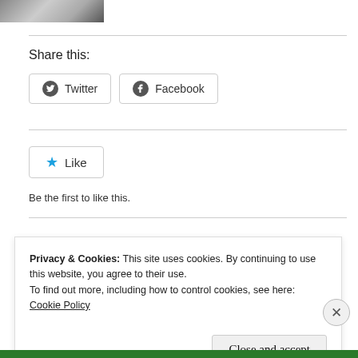[Figure (photo): Partial photo of a person with light hair, cropped at top of page]
Share this:
Twitter  Facebook
Like
Be the first to like this.
Privacy & Cookies: This site uses cookies. By continuing to use this website, you agree to their use.
To find out more, including how to control cookies, see here:
Cookie Policy
Close and accept